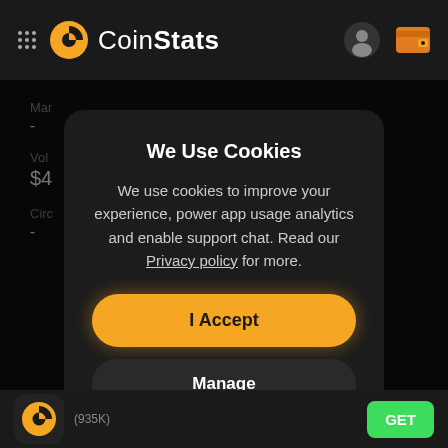CoinStats
[Figure (screenshot): CoinStats app background showing partial market data (Mar, Vol, $4, Circ) in dark theme]
We Use Cookies
We use cookies to improve your experience, power app usage analytics and enable support chat. Read our Privacy policy for more.
I Accept
Manage
(935K)  GET